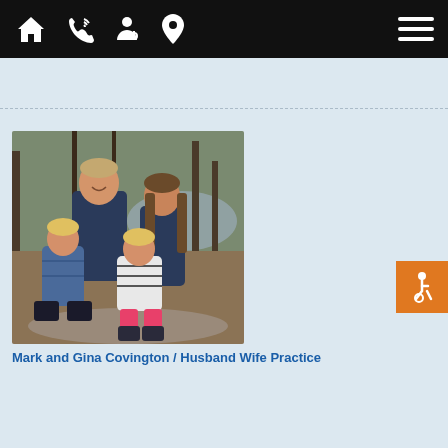Navigation bar with home, phone, doctor, location icons and hamburger menu
[Figure (photo): Family photo of Mark and Gina Covington with two daughters outdoors in a wooded setting near water, everyone wearing navy/blue clothing]
Mark and Gina Covington / Husband Wife Practice